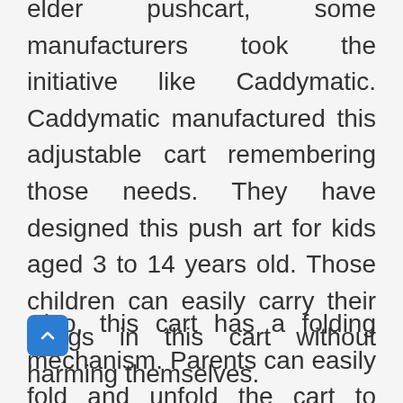elder pushcart, some manufacturers took the initiative like Caddymatic. Caddymatic manufactured this adjustable cart remembering those needs. They have designed this push art for kids aged 3 to 14 years old. Those children can easily carry their things in this cart without harming themselves.
Also, this cart has a folding mechanism. Parents can easily fold and unfold the cart to adjust it inside the bunker of the car. This